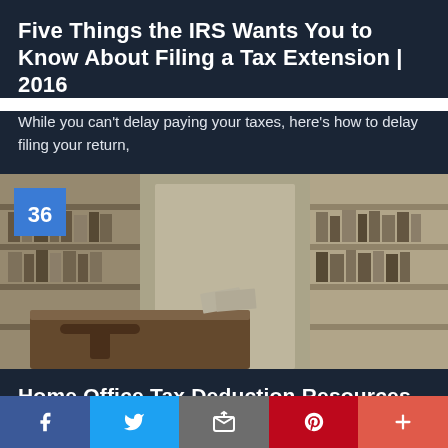Five Things the IRS Wants You to Know About Filing a Tax Extension | 2016
While you can't delay paying your taxes, here's how to delay filing your return,
[Figure (photo): Interior of a home office with bookshelves, files, and a desk]
Home Office Tax Deduction Resources From the IRS | 2016
If you use part of your home for business, you may be able
f  (Twitter bird)  (email icon)  (Pinterest P)  +